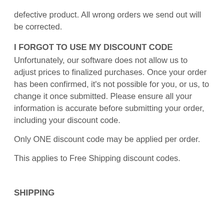defective product. All wrong orders we send out will be corrected.
I FORGOT TO USE MY DISCOUNT CODE
Unfortunately, our software does not allow us to adjust prices to finalized purchases. Once your order has been confirmed, it's not possible for you, or us, to change it once submitted. Please ensure all your information is accurate before submitting your order, including your discount code.
Only ONE discount code may be applied per order.
This applies to Free Shipping discount codes.
SHIPPING